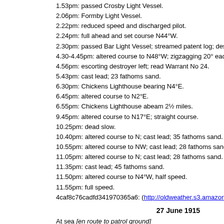1.53pm: passed Crosby Light Vessel.
2.06pm: Formby Light Vessel.
2.22pm: reduced speed and discharged pilot.
2.24pm: full ahead and set course N44°W.
2.30pm: passed Bar Light Vessel; streamed patent log; destroyer esco
4.30-4.45pm: altered course to N48°W; zigzagging 20° each side.
4.56pm: escorting destroyer left; read Warrant No 24.
5.43pm: cast lead; 23 fathoms sand.
6.30pm: Chickens Lighthouse bearing N4°E.
6.45pm: altered course to N2°E.
6.55pm: Chickens Lighthouse abeam 2½ miles.
9.45pm: altered course to N17°E; straight course.
10.25pm: dead slow.
10.40pm: altered course to N; cast lead; 35 fathoms sand.
10.55pm: altered course to NW; cast lead; 28 fathoms sand.
11.05pm: altered course to N; cast lead; 28 fathoms sand.
11.35pm: cast lead; 45 fathoms sand.
11.50pm: altered course to N4°W, half speed.
11.55pm: full speed.
4caf8c76cadfd341970365a6: (http://oldweather.s3.amazonaws.com/A
27 June 1915
At sea [en route to patrol ground]
Lat 56.4, Long -9.3
[Wind N (NNE and NW) force 3-4; sea smooth to slight; mainly overca average 55°F]
0.30am: altered course to N27°W.
0.45am: altered course to N55°W.
1.02am: Sanda Light abeam 3½ miles.
1.37am: Mull of Cantyre Light abeam.
1.57am: altered course to NNW.